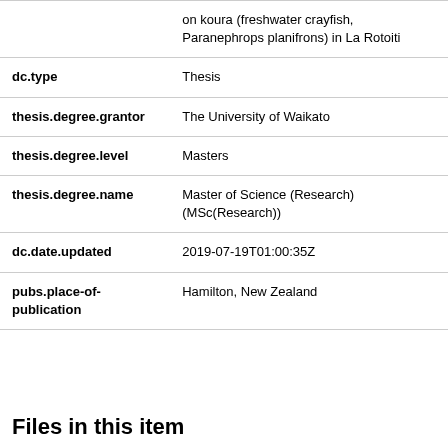| Field | Value |
| --- | --- |
|  | on koura (freshwater crayfish, Paranephrops planifrons) in La Rotoiti |
| dc.type | Thesis |
| thesis.degree.grantor | The University of Waikato |
| thesis.degree.level | Masters |
| thesis.degree.name | Master of Science (Research) (MSc(Research)) |
| dc.date.updated | 2019-07-19T01:00:35Z |
| pubs.place-of-publication | Hamilton, New Zealand |
Files in this item